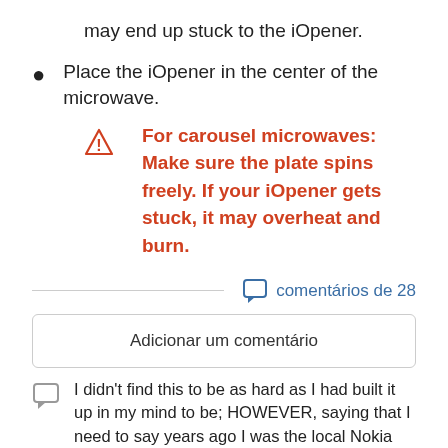may end up stuck to the iOpener.
Place the iOpener in the center of the microwave.
For carousel microwaves: Make sure the plate spins freely. If your iOpener gets stuck, it may overheat and burn.
comentários de 28
Adicionar um comentário
I didn't find this to be as hard as I had built it up in my mind to be; HOWEVER, saying that I need to say years ago I was the local Nokia service center in my town. But many years ago right after they got